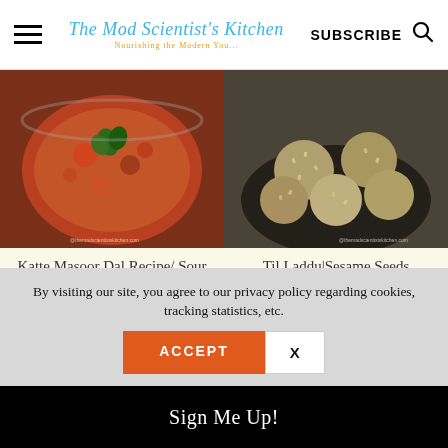The Mod Scientist's Kitchen | SUBSCRIBE
[Figure (photo): Bowl of Katte Masoor Dal (red lentil curry with tomatoes and garnished with coriander leaf) served with rice]
[Figure (photo): Plate of Til Laddu (sesame seed balls/ladoos) arranged in a dark bowl]
Katte Masoor Dal Recipe/ Sour Lentil
Til Laddu|Sesame Seeds Ladoos|Tilgul|Ellu Unde
By visiting our site, you agree to our privacy policy regarding cookies, tracking statistics, etc.
ACCEPT
X
Sign Me Up!